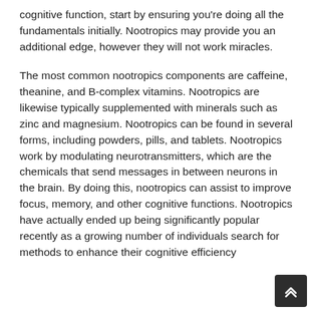cognitive function, start by ensuring you're doing all the fundamentals initially. Nootropics may provide you an additional edge, however they will not work miracles.
The most common nootropics components are caffeine, theanine, and B-complex vitamins. Nootropics are likewise typically supplemented with minerals such as zinc and magnesium. Nootropics can be found in several forms, including powders, pills, and tablets. Nootropics work by modulating neurotransmitters, which are the chemicals that send messages in between neurons in the brain. By doing this, nootropics can assist to improve focus, memory, and other cognitive functions. Nootropics have actually ended up being significantly popular recently as a growing number of individuals search for methods to enhance their cognitive efficiency